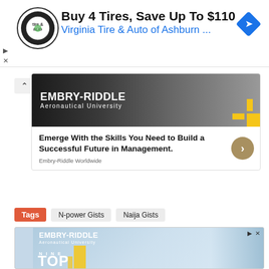[Figure (screenshot): Advertisement banner: tire and auto logo circle, bold headline 'Buy 4 Tires, Save Up To $110', blue subline 'Virginia Tire & Auto of Ashburn ...', blue navigation diamond icon on right]
[Figure (screenshot): Embry-Riddle Aeronautical University advertisement card showing university banner image with EMBRY-RIDDLE Aeronautical University text, headline 'Emerge With the Skills You Need to Build a Successful Future in Management.' with gold chevron button, source 'Embry-Riddle Worldwide']
Tags  N-power Gists  Naija Gists
[Figure (screenshot): Second Embry-Riddle Aeronautical University advertisement with blue sky background, NINE TOP text overlay and person wearing glasses]